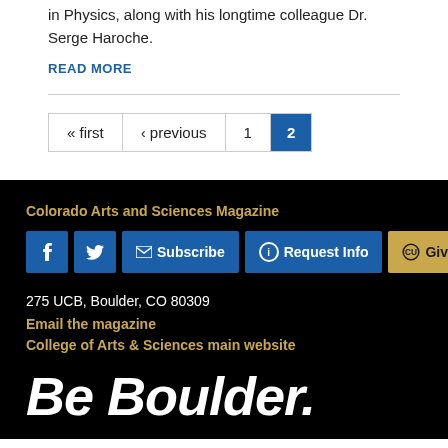in Physics, along with his longtime colleague Dr. Serge Haroche.
READ MORE
« first ‹ previous 1 2
Colorado Arts and Sciences Magazine
Subscribe  Request Info  Give
275 UCB, Boulder, CO 80309
Email the magazine
College of Arts & Sciences main website
Be Boulder.